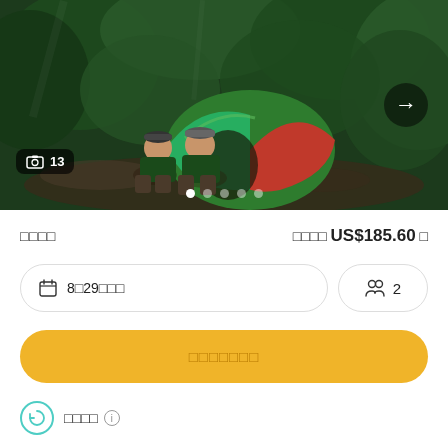[Figure (photo): Two people sitting in front of a green and red dome tent in a lush green forest setting. Photo counter badge showing 13 images. Navigation arrow on right. Carousel dots at bottom.]
□□□□   □□□□ US$185.60 □
8□29□□□   2
□□□□□□□
□□□□ ⓘ